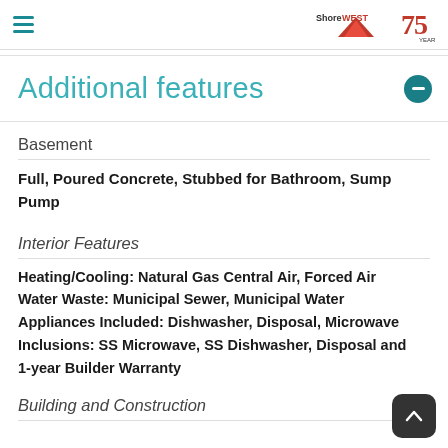ShoreWest 75 Years
Additional features
Basement
Full, Poured Concrete, Stubbed for Bathroom, Sump Pump
Interior Features
Heating/Cooling: Natural Gas Central Air, Forced Air Water Waste: Municipal Sewer, Municipal Water Appliances Included: Dishwasher, Disposal, Microwave Inclusions: SS Microwave, SS Dishwasher, Disposal and 1-year Builder Warranty
Building and Construction